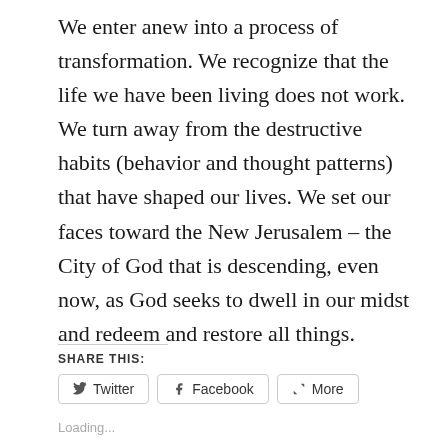We enter anew into a process of transformation. We recognize that the life we have been living does not work. We turn away from the destructive habits (behavior and thought patterns) that have shaped our lives. We set our faces toward the New Jerusalem – the City of God that is descending, even now, as God seeks to dwell in our midst and redeem and restore all things.
SHARE THIS:
Twitter  Facebook  More
Loading...